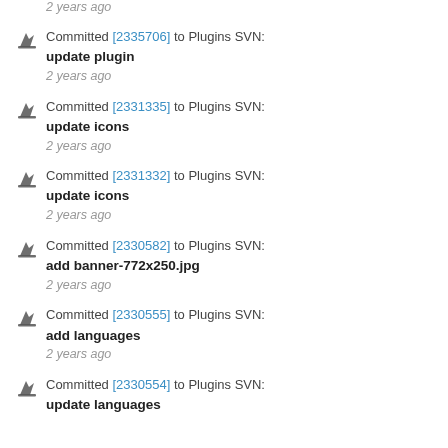2 years ago
Committed [2335706] to Plugins SVN: update plugin
2 years ago
Committed [2331335] to Plugins SVN: update icons
2 years ago
Committed [2331332] to Plugins SVN: update icons
2 years ago
Committed [2330582] to Plugins SVN: add banner-772x250.jpg
2 years ago
Committed [2330555] to Plugins SVN: add languages
2 years ago
Committed [2330554] to Plugins SVN: update languages
2 years ago